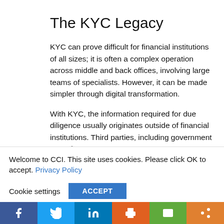The KYC Legacy
KYC can prove difficult for financial institutions of all sizes; it is often a complex operation across middle and back offices, involving large teams of specialists. However, it can be made simpler through digital transformation.
With KYC, the information required for due diligence usually originates outside of financial institutions. Third parties, including government agencies
Welcome to CCI. This site uses cookies. Please click OK to accept. Privacy Policy
Cookie settings   ACCEPT